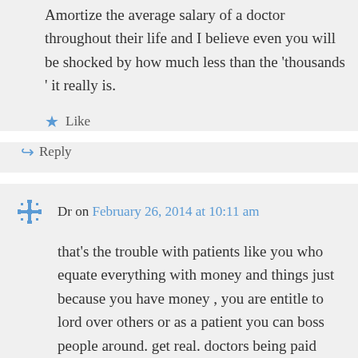Amortize the average salary of a doctor throughout their life and I believe even you will be shocked by how much less than the 'thousands ' it really is.
★ Like
↪ Reply
Dr on February 26, 2014 at 10:11 am
that's the trouble with patients like you who equate everything with money and things just because you have money , you are entitle to lord over others or as a patient you can boss people around. get real. doctors being paid thousands are still very